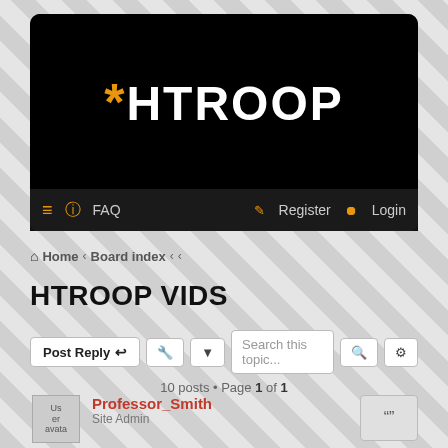[Figure (screenshot): Website header with black background showing '*HTROOP' logo text in white with orange asterisk]
≡  ? FAQ    Register  Login
Home › Board index › ‹ ‹
HTROOP VIDS
Post Reply ↩  🔧 ▾  Search this topic...  🔍  ⚙
10 posts • Page 1 of 1
Professor_Smith
Site Admin